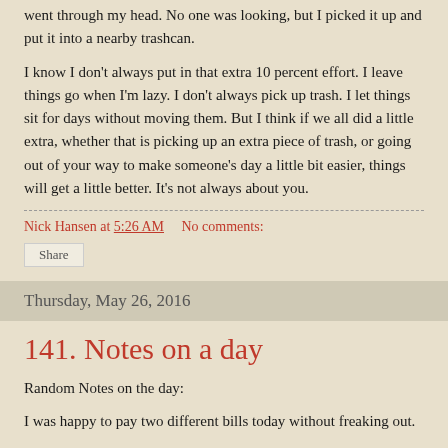went through my head. No one was looking, but I picked it up and put it into a nearby trashcan.
I know I don't always put in that extra 10 percent effort. I leave things go when I'm lazy. I don't always pick up trash. I let things sit for days without moving them. But I think if we all did a little extra, whether that is picking up an extra piece of trash, or going out of your way to make someone's day a little bit easier, things will get a little better. It's not always about you.
Nick Hansen at 5:26 AM    No comments:
Share
Thursday, May 26, 2016
141. Notes on a day
Random Notes on the day:
I was happy to pay two different bills today without freaking out.